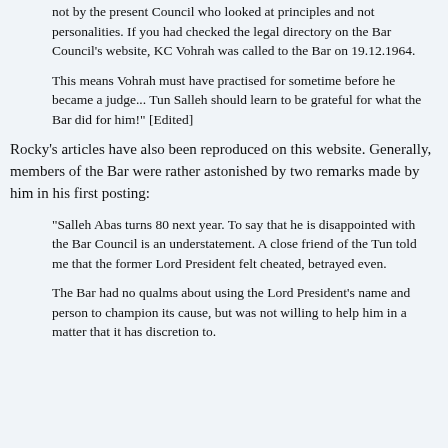not by the present Council who looked at principles and not personalities. If you had checked the legal directory on the Bar Council's website, KC Vohrah was called to the Bar on 19.12.1964.
This means Vohrah must have practised for sometime before he became a judge... Tun Salleh should learn to be grateful for what the Bar did for him!" [Edited]
Rocky's articles have also been reproduced on this website. Generally, members of the Bar were rather astonished by two remarks made by him in his first posting:
"Salleh Abas turns 80 next year. To say that he is disappointed with the Bar Council is an understatement. A close friend of the Tun told me that the former Lord President felt cheated, betrayed even.
The Bar had no qualms about using the Lord President's name and person to champion its cause, but was not willing to help him in a matter that it has discretion to.